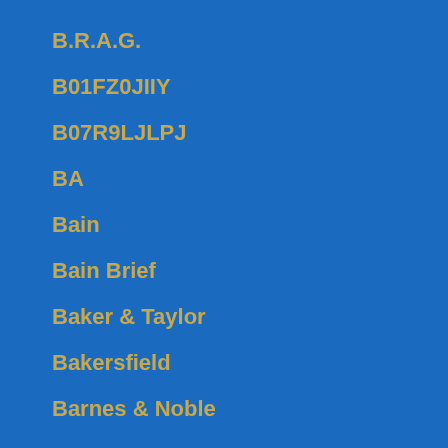B.R.A.G.
B01FZ0JIIY
B07R9LJLPJ
BA
Bain
Bain Brief
Baker & Taylor
Bakersfield
Barnes & Noble